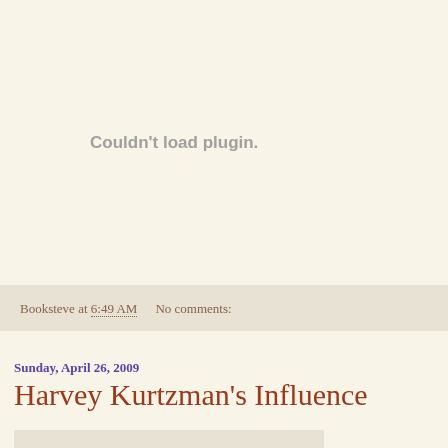[Figure (other): Plugin placeholder area showing 'Couldn't load plugin.' message in gray text on cream background]
Booksteve at 6:49 AM    No comments:
Sunday, April 26, 2009
Harvey Kurtzman's Influence
[Figure (photo): Partial image visible at bottom of page]